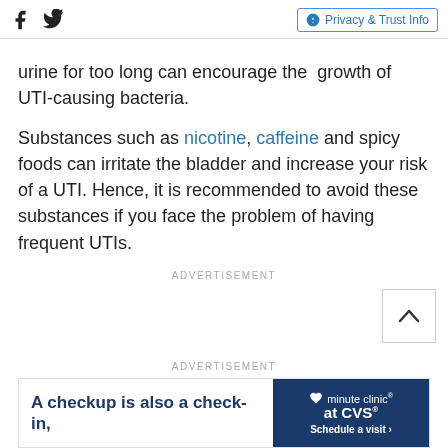[Facebook icon] [Twitter icon]  Privacy & Trust Info
urine for too long can encourage the growth of UTI-causing bacteria.
Substances such as nicotine, caffeine and spicy foods can irritate the bladder and increase your risk of a UTI. Hence, it is recommended to avoid these substances if you face the problem of having frequent UTIs.
ADVERTISEMENT
ADVERTISEMENT
[Figure (other): Advertisement banner: 'A checkup is also a check-in,' with minute clinic at CVS logo and 'Schedule a visit' button]